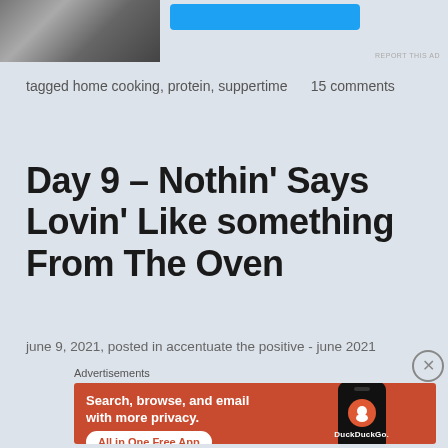[Figure (screenshot): Top portion of a web advertisement banner showing a partial image on the left and a blue button on the right, cut off at top of page]
tagged home cooking, protein, suppertime    15 comments
Day 9 – Nothin' Says Lovin' Like something From The Oven
june 9, 2021, posted in accentuate the positive - june 2021
Advertisements
[Figure (screenshot): DuckDuckGo advertisement banner with orange/red background. Text reads: Search, browse, and email with more privacy. All in One Free App. Shows DuckDuckGo logo and phone graphic.]